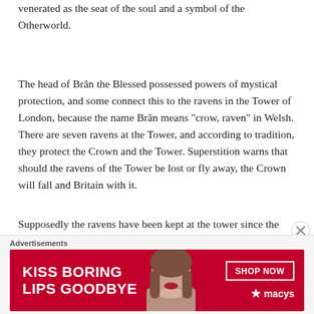venerated as the seat of the soul and a symbol of the Otherworld.
The head of Brân the Blessed possessed powers of mystical protection, and some connect this to the ravens in the Tower of London, because the name Brân means "crow, raven" in Welsh. There are seven ravens at the Tower, and according to tradition, they protect the Crown and the Tower. Superstition warns that should the ravens of the Tower be lost or fly away, the Crown will fall and Britain with it.
Supposedly the ravens have been kept at the tower since the 17th century, but historical evidence points to them being a Victorian innovation, possibly a gift from an earl with links to Druidic scholarship who
Advertisements
[Figure (other): Advertisement banner for Macy's with red background, text 'KISS BORING LIPS GOODBYE', a shop now button, Macy's star logo, and a photo of a woman's face]